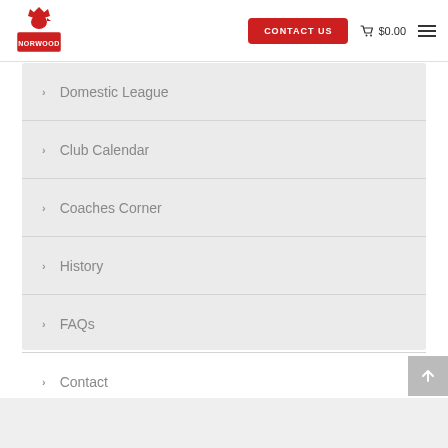[Figure (logo): Norwood Cardinals logo with red cardinal bird and stylized text]
CONTACT US
$0.00
Domestic League
Club Calendar
Coaches Corner
History
FAQs
Contact